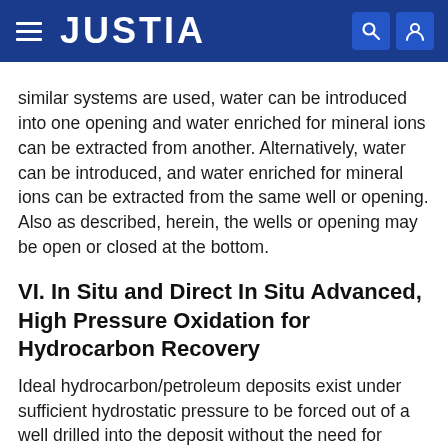JUSTIA
similar systems are used, water can be introduced into one opening and water enriched for mineral ions can be extracted from another. Alternatively, water can be introduced, and water enriched for mineral ions can be extracted from the same well or opening. Also as described, herein, the wells or opening may be open or closed at the bottom.
VI. In Situ and Direct In Situ Advanced, High Pressure Oxidation for Hydrocarbon Recovery
Ideal hydrocarbon/petroleum deposits exist under sufficient hydrostatic pressure to be forced out of a well drilled into the deposit without the need for pumps. However, when deposits are not under pressure, it is usually necessary to pump water, steam, or fracturing reagent into the deposit to displace the petroleum